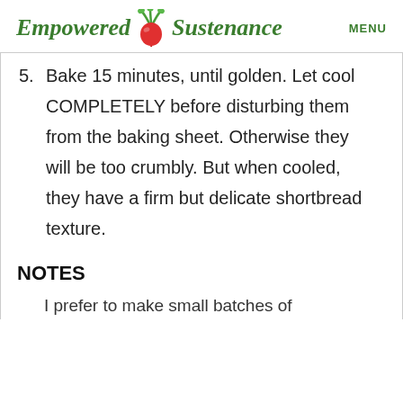Empowered Sustenance   MENU
5. Bake 15 minutes, until golden. Let cool COMPLETELY before disturbing them from the baking sheet. Otherwise they will be too crumbly. But when cooled, they have a firm but delicate shortbread texture.
NOTES
I prefer to make small batches of